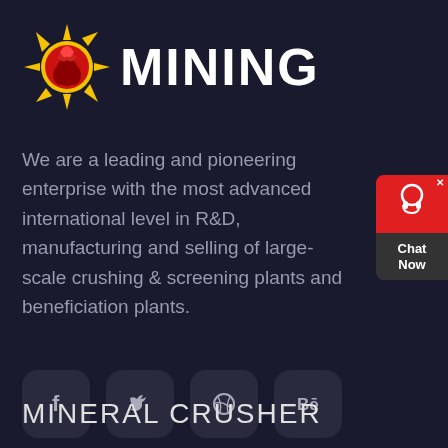[Figure (logo): Sun/flame logo icon with yellow sunburst and red flame center, next to bold white 'MINING' text]
We are a leading and pioneering enterprise with the most advanced international level in R&D, manufacturing and selling of large-scale crushing & screening plants and beneficiation plants.
[Figure (other): Four social media icon buttons: Facebook (f), Twitter (bird), Dribbble (circle target), Behance (Be) — dark rounded square buttons]
[Figure (other): Chat Now widget popup in the top-right corner with red top section showing headset icon, dark bottom with 'Chat Now' text and X close button]
MINERAL CRUSHER